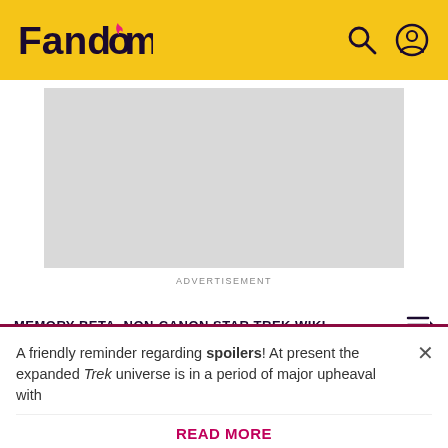Fandom
[Figure (other): Advertisement placeholder - grey rectangle]
ADVERTISEMENT
MEMORY BETA, NON-CANON STAR TREK WIKI
Gulliver's Fugitives
A friendly reminder regarding spoilers! At present the expanded Trek universe is in a period of major upheaval with
READ MORE